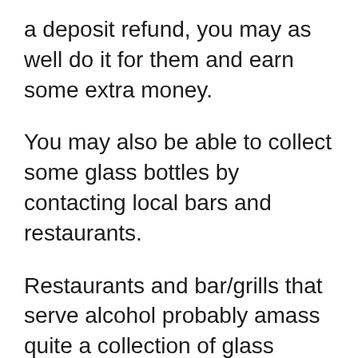a deposit refund, you may as well do it for them and earn some extra money.
You may also be able to collect some glass bottles by contacting local bars and restaurants.
Restaurants and bar/grills that serve alcohol probably amass quite a collection of glass bottles on a weekly basis and would be a great place to find more recyclable glass.
If they don't object to you collecting their recyclable glass, you can place a